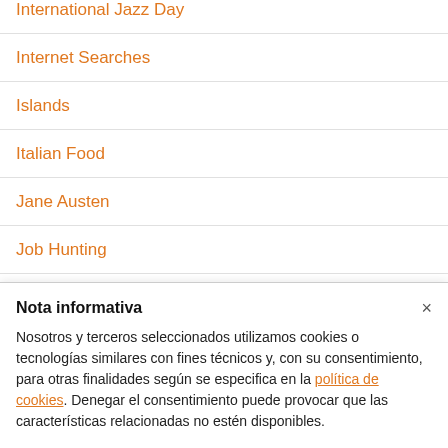International Jazz Day
Internet Searches
Islands
Italian Food
Jane Austen
Job Hunting
Job Titles
Nota informativa
Nosotros y terceros seleccionados utilizamos cookies o tecnologías similares con fines técnicos y, con su consentimiento, para otras finalidades según se especifica en la política de cookies. Denegar el consentimiento puede provocar que las características relacionadas no estén disponibles.